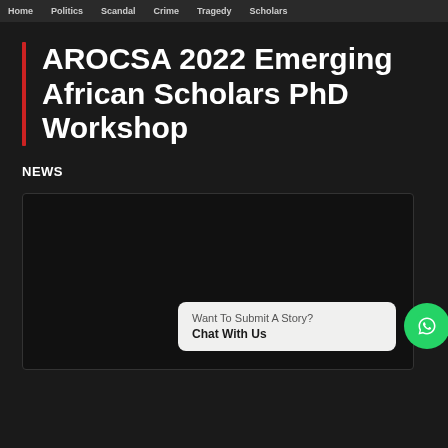Home   Politics   Scandal   Crime   Tragedy   Scholars
AROCSA 2022 Emerging African Scholars PhD Workshop
NEWS
[Figure (other): Dark image box with a WhatsApp chat widget at the bottom showing 'Want To Submit A Story? Chat With Us' and a green WhatsApp icon button]